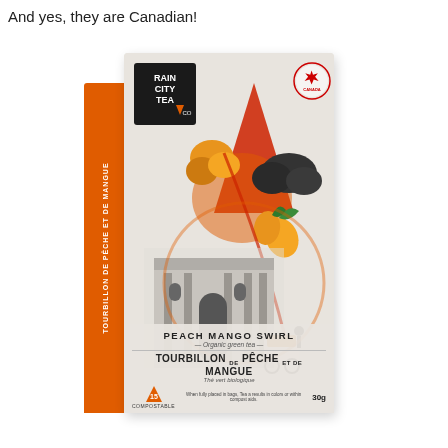And yes, they are Canadian!
[Figure (photo): Rain City Tea Co. Peach Mango Swirl organic green tea box (30g, 15 compostable bags). The packaging is light grey/beige with an orange side panel. The front features artistic illustration of a city building in black and white, mango fruits, dark storm clouds, an orange teardrop/flame shape, and a bicycle with an ice cream cart. The Rain City Tea Co. logo is in a black square at top left. A Canadian maple leaf badge appears at top right. Bottom text reads: PEACH MANGO SWIRL / Organic green tea / TOURBILLON DE PÊCHE ET DE MANGUE / Thé vert biologique / 30g]